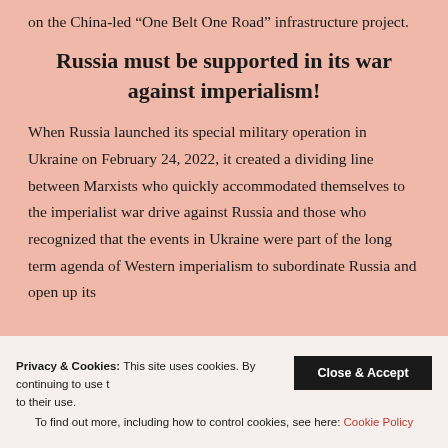on the China-led “One Belt One Road” infrastructure project.
Russia must be supported in its war against imperialism!
When Russia launched its special military operation in Ukraine on February 24, 2022, it created a dividing line between Marxists who quickly accommodated themselves to the imperialist war drive against Russia and those who recognized that the events in Ukraine were part of the long term agenda of Western imperialism to subordinate Russia and open up its
Privacy & Cookies: This site uses cookies. By continuing to use this website, you agree to their use. To find out more, including how to control cookies, see here: Cookie Policy